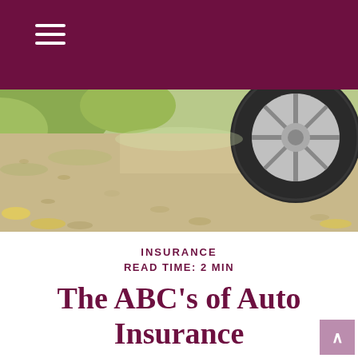[Figure (photo): Close-up photo of a car tire on a gravel road with trees and greenery in the background, taken from a low angle.]
INSURANCE
READ TIME: 2 MIN
The ABC’s of Auto Insurance
The questions around auto insurance center not so much on whether to have it—it’s mandated by state law, required by your lender, and serves to protect your assets—but what kind of coverage you should purchase.